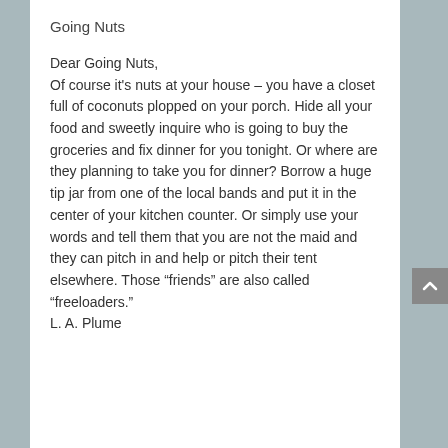Going Nuts
Dear Going Nuts,
Of course it's nuts at your house – you have a closet full of coconuts plopped on your porch. Hide all your food and sweetly inquire who is going to buy the groceries and fix dinner for you tonight. Or where are they planning to take you for dinner? Borrow a huge tip jar from one of the local bands and put it in the center of your kitchen counter. Or simply use your words and tell them that you are not the maid and they can pitch in and help or pitch their tent elsewhere. Those “friends” are also called “freeloaders.”
L. A. Plume